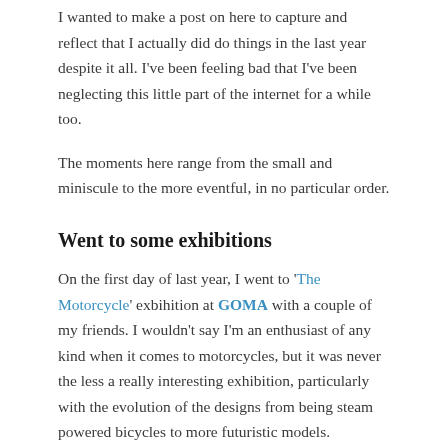I wanted to make a post on here to capture and reflect that I actually did do things in the last year despite it all. I've been feeling bad that I've been neglecting this little part of the internet for a while too.
The moments here range from the small and miniscule to the more eventful, in no particular order.
Went to some exhibitions
On the first day of last year, I went to 'The Motorcycle' exbihition at GOMA with a couple of my friends. I wouldn't say I'm an enthusiast of any kind when it comes to motorcycles, but it was never the less a really interesting exhibition, particularly with the evolution of the designs from being steam powered bicycles to more futuristic models.